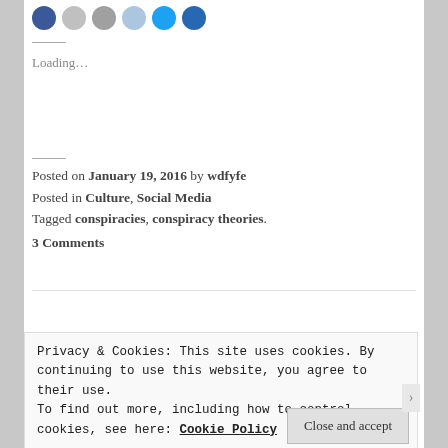[Figure (illustration): Row of social media sharing icon circles in blue, gray, light gray, light blue, Twitter blue, and dark blue]
Loading…
Posted on January 19, 2016 by wdfyfe
Posted in Culture, Social Media
Tagged conspiracies, conspiracy theories.
3 Comments
Older posts
Privacy & Cookies: This site uses cookies. By continuing to use this website, you agree to their use.
To find out more, including how to control cookies, see here: Cookie Policy
Close and accept